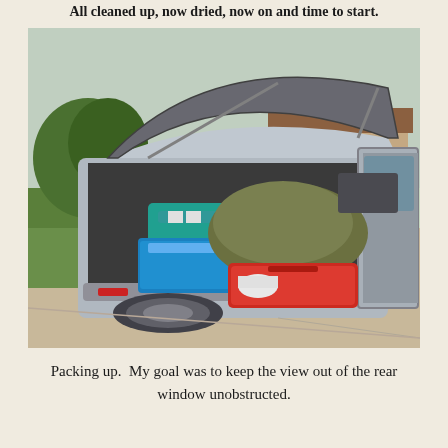All cleaned up, now dried, now on and time to start.
[Figure (photo): A minivan parked in a suburban driveway with its rear hatch open and side door open, packed with luggage including a teal cooler bag, a blue cooler, a large olive duffel bag, and a red suitcase. Green lawn and neighboring houses visible in the background.]
Packing up.  My goal was to keep the view out of the rear window unobstructed.